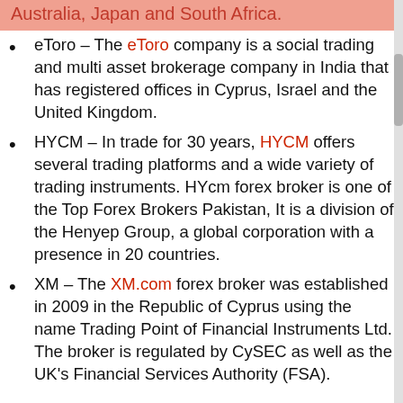Australia, Japan and South Africa.
eToro – The eToro company is a social trading and multi asset brokerage company in India that has registered offices in Cyprus, Israel and the United Kingdom.
HYCM – In trade for 30 years, HYCM offers several trading platforms and a wide variety of trading instruments. HYcm forex broker is one of the Top Forex Brokers Pakistan, It is a division of the Henyep Group, a global corporation with a presence in 20 countries.
XM – The XM.com forex broker was established in 2009 in the Republic of Cyprus using the name Trading Point of Financial Instruments Ltd. The broker is regulated by CySEC as well as the UK's Financial Services Authority (FSA).